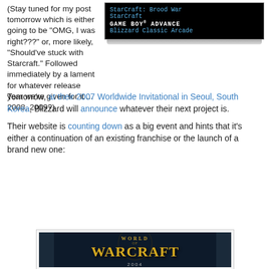[Figure (screenshot): Screenshot of a Blizzard game selection menu on dark background showing StarCraft: Brood War, StarCraft, GAME BOY ADVANCE, and Blizzard Classic Arcade options in blue/white text]
(Stay tuned for my post tomorrow which is either going to be "OMG, I was right???" or, more likely, "Should've stuck with Starcraft." Followed immediately by a lament for whatever release year we're given for it ... 2008, 2009?)
Tomorrow, at their 2007 Worldwide Invitational in Seoul, South Korea, Blizzard will announce whatever their next project is.
Their website is counting down as a big event and hints that it's either a continuation of an existing franchise or the launch of a brand new one:
[Figure (screenshot): World of Warcraft logo image with dark fantasy background showing the World of Warcraft title text in gold]